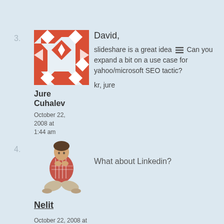3.
[Figure (illustration): Geometric red and white patterned avatar with diamond/checkerboard motif]
David,
slideshare is a great idea ☰ Can you expand a bit on a use case for yahoo/microsoft SEO tactic?
kr, jure
Jure Cuhalev
October 22, 2008 at 1:44 am
4.
[Figure (photo): Person sitting cross-legged with hands clasped under chin, wearing red and white plaid shirt]
What about Linkedin?
Nelit
October 22, 2008 at 2:26 am